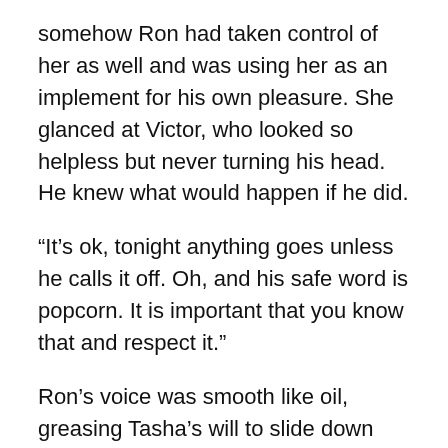somehow Ron had taken control of her as well and was using her as an implement for his own pleasure. She glanced at Victor, who looked so helpless but never turning his head. He knew what would happen if he did.
“It’s ok, tonight anything goes unless he calls it off. Oh, and his safe word is popcorn. It is important that you know that and respect it.”
Ron’s voice was smooth like oil, greasing Tasha’s will to slide down into his sadistic tunnel. She shook her head yes slowly and began to walk to where the toys were kept. Tasha’s mind raced almost as quick as her pulse. When she picked up the harness and bag of instruments that fit into it she felt a smile creep across her face. It was a complete shock as a feeling from some deep, previously undisturbed, place emerged. Tonight she wanted to not